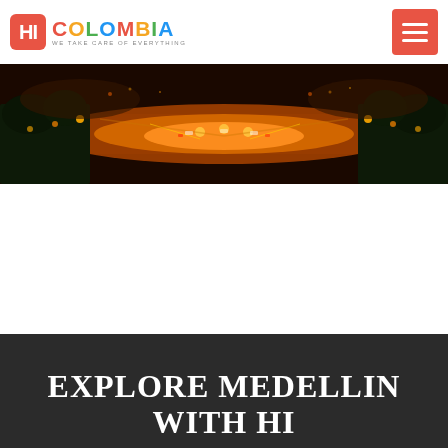[Figure (logo): HI Colombia logo - red rounded box with HI text, followed by COLOMBIA in multicolor letters, with tagline WE TAKE CARE OF EVERYTHING]
[Figure (photo): Aerial night photo of a city highway with orange and yellow lights, traffic, and trees on both sides]
EXPLORE MEDELLIN WITH HI